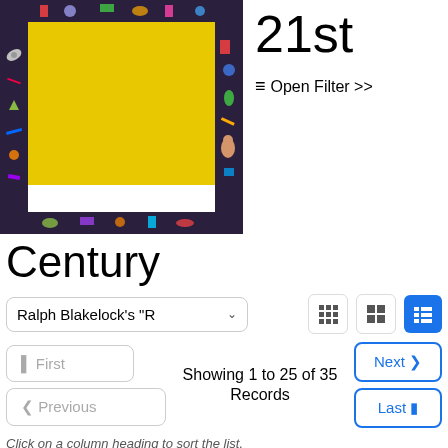[Figure (photo): Artwork with yellow center and decorative colorful border featuring various objects (handcuffs, scissors, etc.)]
21st
≡ Open Filter >>
Century
Ralph Blakelock's "R ∨
⊞ ⊞ ⊞ (view icons)
⊲ First
Showing 1 to 25 of 35 Records
Next ›
‹ Previous
Last ⊳
Click on a column heading to sort the list.
| Title | Artist | Medium & Support | Creation Date |
| --- | --- | --- | --- |
↑ Go to Top    Last updated: 08/28/2022